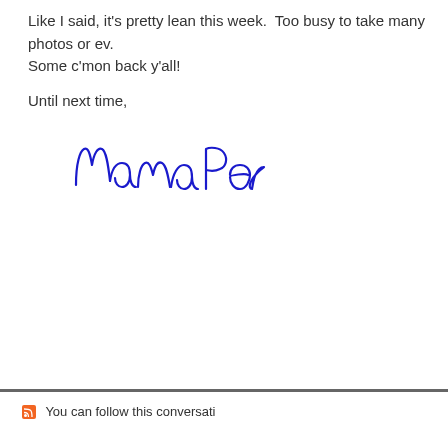Like I said, it's pretty lean this week.  Too busy to take many photos or ev. Some c'mon back y'all!
Until next time,
[Figure (illustration): Handwritten cursive signature reading 'Mama Pea' in blue ink]
[Figure (other): Light gray horizontal banner/advertisement block]
You can follow this conversati